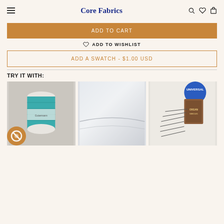Core Fabrics
ADD TO CART
ADD TO WISHLIST
ADD A SWATCH - $1.00 USD
TRY IT WITH:
[Figure (photo): Three product thumbnails: teal thread spool, white fabric, sewing needles with Universal label]
[Figure (logo): Privacy icon - circular badge with eye-slash symbol]